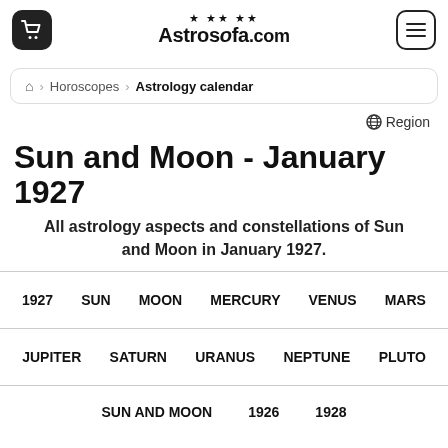Astrosofa.com
Horoscopes > Astrology calendar
Region
Sun and Moon - January 1927
All astrology aspects and constellations of Sun and Moon in January 1927.
1927 SUN MOON MERCURY VENUS MARS
JUPITER SATURN URANUS NEPTUNE PLUTO
SUN AND MOON 1926 1928